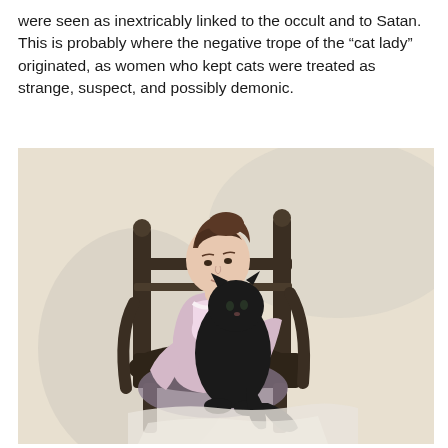were seen as inextricably linked to the occult and to Satan. This is probably where the negative trope of the “cat lady” originated, as women who kept cats were treated as strange, suspect, and possibly demonic.
[Figure (illustration): A vintage color illustration of an Edwardian-era woman in a light pink off-shoulder dress seated in a dark wooden armchair, holding a large black cat against her chest. The woman has her hair pinned up and is looking down at the cat. The background is a pale, muted tone typical of early 20th century chromolithograph postcards.]